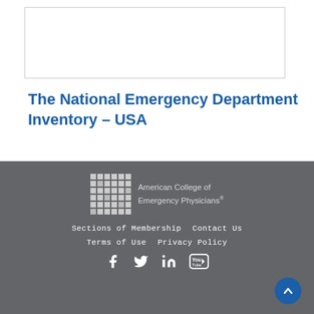[Figure (other): White rectangular image box with light gray border at top of page]
The National Emergency Department Inventory – USA
[Figure (logo): American College of Emergency Physicians logo with grid pattern and text]
Sections of Membership   Contact Us   Terms of Use   Privacy Policy
[Figure (other): Social media icons: Facebook, Twitter, LinkedIn, YouTube]
[Figure (other): Scroll-to-top button (blue circle with upward chevron)]